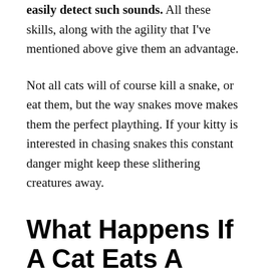easily detect such sounds. All these skills, along with the agility that I've mentioned above give them an advantage.
Not all cats will of course kill a snake, or eat them, but the way snakes move makes them the perfect plaything. If your kitty is interested in chasing snakes this constant danger might keep these slithering creatures away.
What Happens If A Cat Eats A Snake?
Most outdoor cats love to hunt and they are ready to chase anything that slithers and wiggles including snakes. They might spend a long time playing with their